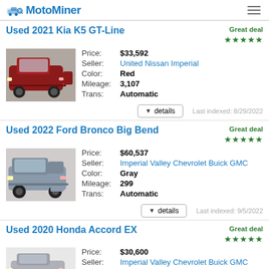MotoMiner
Used 2021 Kia K5 GT-Line
Price: $33,592 | Seller: United Nissan Imperial | Color: Red | Mileage: 3,107 | Trans: Automatic | Last indexed: 8/29/2022
Used 2022 Ford Bronco Big Bend
Price: $60,537 | Seller: Imperial Valley Chevrolet Buick GMC | Color: Gray | Mileage: 299 | Trans: Automatic | Last indexed: 9/5/2022
Used 2020 Honda Accord EX
Price: $30,600 | Seller: Imperial Valley Chevrolet Buick GMC | Color: White | Mileage: 5,267